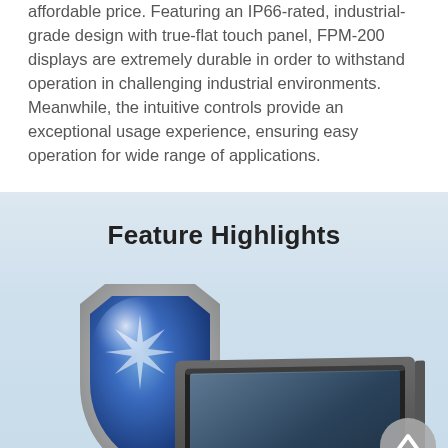affordable price. Featuring an IP66-rated, industrial-grade design with true-flat touch panel, FPM-200 displays are extremely durable in order to withstand operation in challenging industrial environments. Meanwhile, the intuitive controls provide an exceptional usage experience, ensuring easy operation for wide range of applications.
Feature Highlights
[Figure (illustration): Shield icon overlapping with an industrial flat panel monitor (FPM-200), representing durability and protection features. A grey circular scroll-up button is visible in the bottom-right of the feature section.]